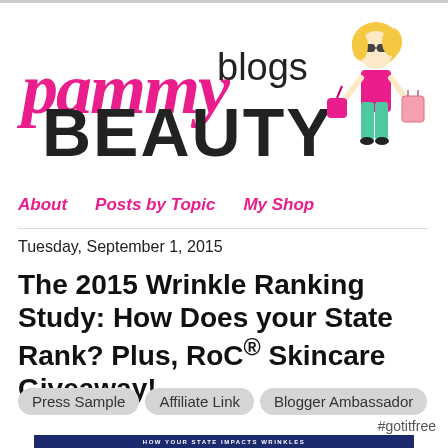[Figure (logo): Pammy Blogs Beauty logo with illustrated blonde woman carrying purse]
About   Posts by Topic   My Shop
Tuesday, September 1, 2015
The 2015 Wrinkle Ranking Study: How Does your State Rank? Plus, RoC® Skincare Giveaway!
Press Sample   Affiliate Link   Blogger Ambassador
#gotitfree
[Figure (screenshot): Dark blue banner strip with text HOW YOUR STATE IMPACTS WRINKLES]